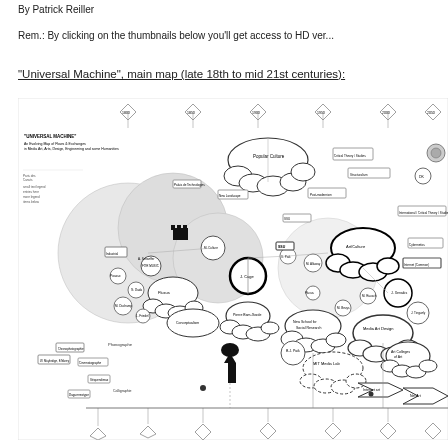By Patrick Reiller
Rem.: By clicking on the thumbnails below you'll get access to HD ver...
"Universal Machine", main map (late 18th to mid 21st centuries):
[Figure (map): A complex network/mind map titled 'UNIVERSAL MACHINE: An Evolving Map of Flows & Exchanges in Media Art, Arts, Design, Engineering and some Humanities'. The map shows an intricate web of interconnected nodes, circles of various sizes, cloud-like thought bubbles, diamond shapes, rectangles, and arrows — all in black and white — representing concepts, people, movements, and institutions related to media art and technology history from the late 18th to mid 21st centuries.]